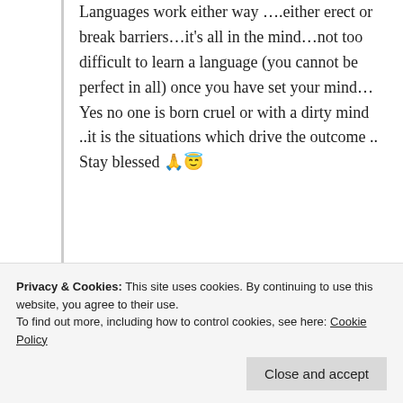Languages work either way ….either erect or break barriers…it's all in the mind…not too difficult to learn a language (you cannot be perfect in all) once you have set your mind…Yes no one is born cruel or with a dirty mind ..it is the situations which drive the outcome ..
Stay blessed 🙏😇
★ Liked by 1 person
Log in to Reply
Privacy & Cookies: This site uses cookies. By continuing to use this website, you agree to their use.
To find out more, including how to control cookies, see here: Cookie Policy